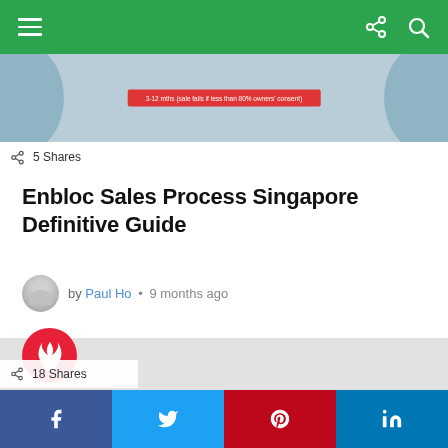Navigation bar with menu and search icons
[Figure (infographic): Top portion of an infographic about Enbloc Sales Process Singapore with a red banner text '3-12 mths (sale fails if less than 80% owners' consent)' and wheels visible on left and right sides]
5 Shares
Enbloc Sales Process Singapore Definitive Guide
by Paul Ho • 9 months ago
[Figure (infographic): Large infographic content area with red circular fire/flame badge icon in top-left corner, light grey background]
18 Shares
Social share buttons: Facebook, Twitter, Pinterest, LinkedIn